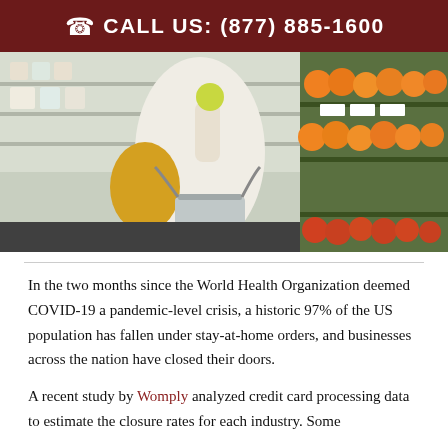CALL US: (877) 885-1600
[Figure (photo): Woman in a white jacket and yellow bag holding a lemon and a shopping basket in a grocery store produce aisle with oranges visible on shelves]
In the two months since the World Health Organization deemed COVID-19 a pandemic-level crisis, a historic 97% of the US population has fallen under stay-at-home orders, and businesses across the nation have closed their doors.
A recent study by Womply analyzed credit card processing data to estimate the closure rates for each industry. Some